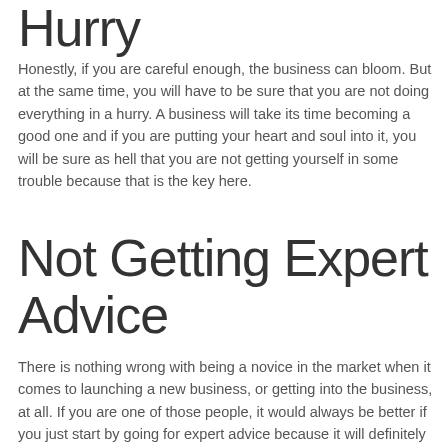Hurry
Honestly, if you are careful enough, the business can bloom. But at the same time, you will have to be sure that you are not doing everything in a hurry. A business will take its time becoming a good one and if you are putting your heart and soul into it, you will be sure as hell that you are not getting yourself in some trouble because that is the key here.
Not Getting Expert Advice
There is nothing wrong with being a novice in the market when it comes to launching a new business, or getting into the business, at all. If you are one of those people, it would always be better if you just start by going for expert advice because it will definitely help you to some extent and you will not have any problems, either.